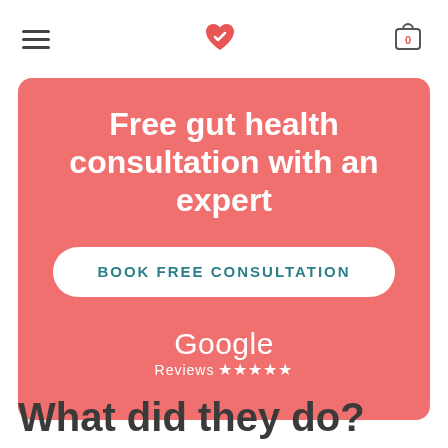Navigation header with hamburger menu, heart logo, and cart icon
[Figure (infographic): Salmon/coral colored banner with white text: 'Free gut health consultation with an expert', a white rounded button 'BOOK FREE CONSULTATION' in teal, and Google Reviews with 5 stars below]
What did they do?